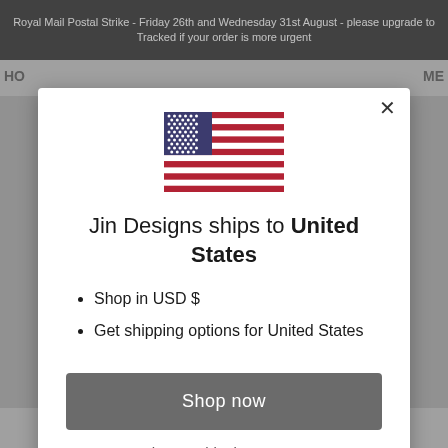Royal Mail Postal Strike - Friday 26th and Wednesday 31st August - please upgrade to Tracked if your order is more urgent
[Figure (screenshot): Modal dialog popup on an e-commerce website showing a US flag, shipping destination notice, bullet points, and shop now button]
Jin Designs ships to United States
Shop in USD $
Get shipping options for United States
Shop now
Change shipping country
This article was written in the middle of lockdown 2. So